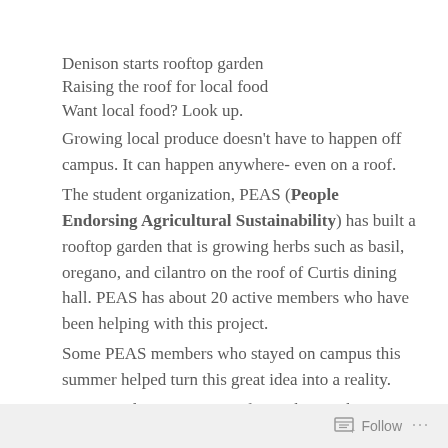Denison starts rooftop garden
Raising the roof for local food
Want local food? Look up.
Growing local produce doesn't have to happen off campus. It can happen anywhere- even on a roof.
The student organization, PEAS (People Endorsing Agricultural Sustainability) has built a rooftop garden that is growing herbs such as basil, oregano, and cilantro on the roof of Curtis dining hall. PEAS has about 20 active members who have been helping with this project.
Some PEAS members who stayed on campus this summer helped turn this great idea into a reality.
Monica Edgerton, a junior from Akron, Ohio majoring in biology and environmental science, is the president of PEAS.
Follow